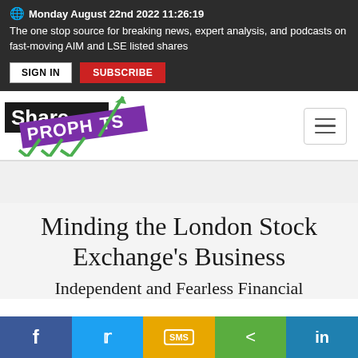Monday August 22nd 2022 11:26:19
The one stop source for breaking news, expert analysis, and podcasts on fast-moving AIM and LSE listed shares
[Figure (logo): ShareProphets logo with green arrow and checkmarks]
Minding the London Stock Exchange’s Business
Independent and Fearless Financial